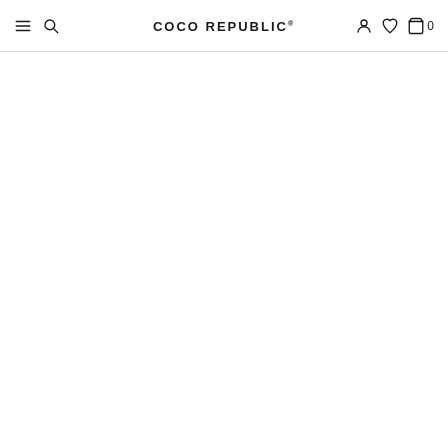COCO REPUBLIC®
[Figure (other): Blank white page content area below navigation header]